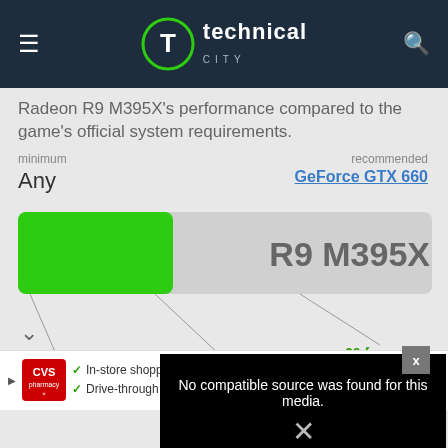technical city
Radeon R9 M395X's performance compared to the game's official system requirements.
minimum
Any
recommended
GeForce GTX 660
[Figure (infographic): Performance bar showing R9 M395X performance vs minimum (Any) and recommended (GeForce GTX 660) system requirements. Green filled bar on left side, gray bar extending to right. Label reads R9 M395X.]
30 fps @ low
1280×720
60 fps @ medium
1920×1080
60 fps @ high
1920×1080
[Figure (screenshot): Black video player area showing error message: No compatible source was found for this media. with an X symbol below.]
[Figure (infographic): CVS Pharmacy advertisement showing In-store shopping, Drive-through, and Delivery options with navigation arrow icon.]